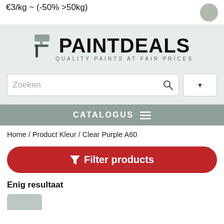€3/kg ~ (-50% >50kg)
[Figure (logo): PaintDeals logo with paint roller icon, tagline: QUALITY PAINTS AT FAIR PRICES]
[Figure (screenshot): Search bar with Zoeken placeholder, search button, and dropdown button]
CATALOGUS
Home / Product Kleur / Clear Purple A60
Filter products
Enig resultaat